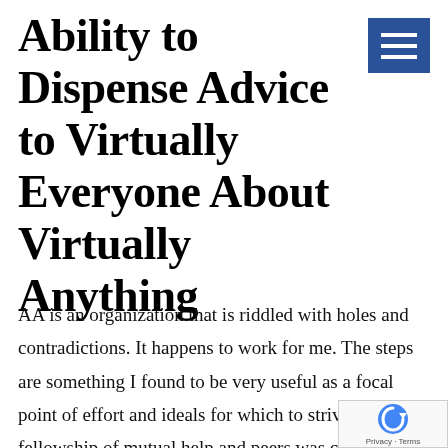Ability to Dispense Advice to Virtually Everyone About Virtually Anything
AA is an organization that is riddled with holes and contradictions. It happens to work for me. The steps are something I found to be very useful as a focal point of effort and ideals for which to strive. The fellowship of mutual help and peers was critical to my success in sobriety. I am l... Very lucky. The first time I walked into an AA meeting